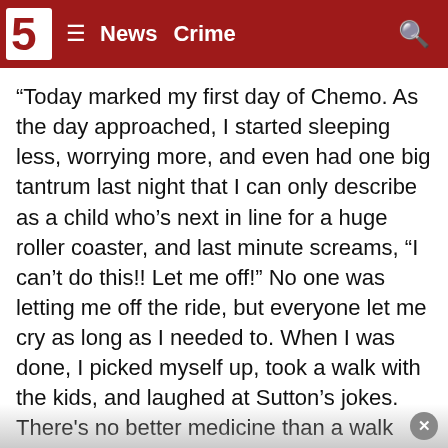5 News Crime
“Today marked my first day of Chemo. As the day approached, I started sleeping less, worrying more, and even had one big tantrum last night that I can only describe as a child who’s next in line for a huge roller coaster, and last minute screams, “I can’t do this!! Let me off!” No one was letting me off the ride, but everyone let me cry as long as I needed to. When I was done, I picked myself up, took a walk with the kids, and laughed at Sutton’s jokes. There's no better medicine than a walk and a laugh,” she wrote.
Shearer continued: “I showed up for my transfusion today with my chemo bag full of so many blankets, snacks, and supplies, that I’m sure it looked like we were planning on staying the week instead of 4 hours. They escorted me, my mother, and John to my infusion room and started going through the medical cocktail I was about to receive. It